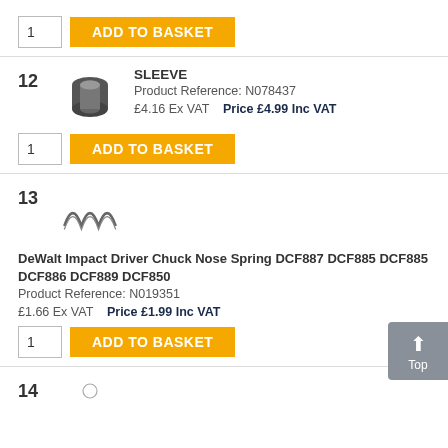1 | ADD TO BASKET (top, previous item)
12 SLEEVE
Product Reference: N078437
£4.16 Ex VAT  Price £4.99 Inc VAT
1 | ADD TO BASKET
[Figure (photo): A small cylindrical sleeve/bushing part, dark grey metal]
13
DeWalt Impact Driver Chuck Nose Spring DCF887 DCF885 DCF885 DCF886 DCF889 DCF850
Product Reference: N019351
£1.66 Ex VAT  Price £1.99 Inc VAT
[Figure (photo): A coil spring for DeWalt impact driver]
1 | ADD TO BASKET
14